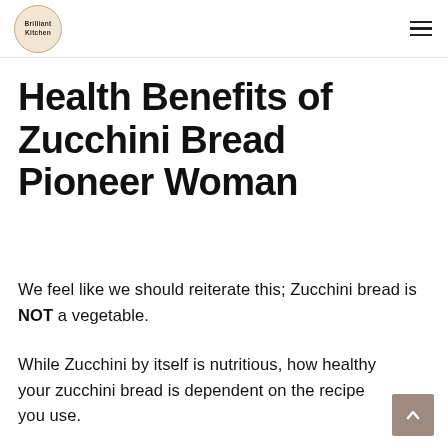Brilliant Kitchen
Health Benefits of Zucchini Bread Pioneer Woman
We feel like we should reiterate this; Zucchini bread is NOT a vegetable.
While Zucchini by itself is nutritious, how healthy your zucchini bread is dependent on the recipe you use.